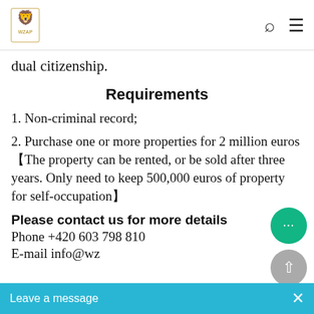WZAP logo with navigation search and menu icons
dual citizenship.
Requirements
1. Non-criminal record;
2. Purchase one or more properties for 2 million euros 【The property can be rented, or be sold after three years. Only need to keep 500,000 euros of property for self-occupation】
Please contact us for more details
Phone +420 603 798 810
E-mail info@wz...
Leave a message